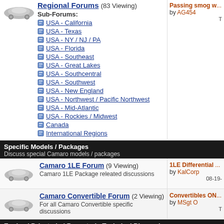Regional Forums (83 Viewing)
Sub-Forums: USA - California, USA - Texas, USA - NY / NJ / PA, USA - Florida, USA - Southeast, USA - Great Lakes, USA - Southcentral, USA - Southwest, USA - New England, USA - Northwest / Pacific Northwest, USA - Mid-Atlantic, USA - Rockies / Midwest, Canada, International Regions
Passing smog w... by AG454 T
Specific Models / Packages
Discuss special Camaro models / packages
Camaro 1LE Forum (9 Viewing)
Camaro 1LE Package releated discussions
1LE Differential ... by KalCorp 08-19-
Camaro Convertible Forum (2 Viewing)
For all Camaro Convertible specific discussions
Convertibles ON... by MSgt O T
Engine | Drivetrain | Powertrain Technical Discussions
Camaro V8 LS3 / L99 Engine, Exhaust, and Bolt-Ons (39 Viewing)
Bolt-Ons | Intakes | Exhaust
GPI Ported Rod... by Joe.G T
Camaro V6 LLT Engine, Exhaust, and ... 2012 Camaro RS...